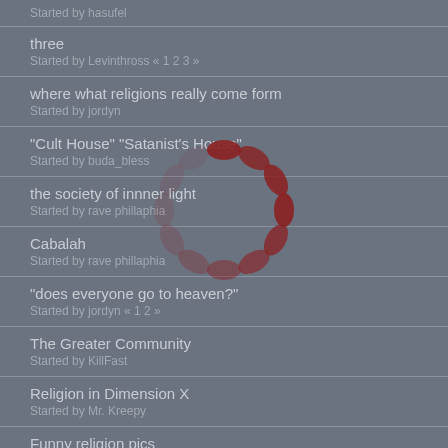Started by hasufel
three
Started by Levinthross « 1 2 3 »
where what religions really come form
Started by jordyn
"Cult House" "Satanist's House"
Started by buda_bless
the society of innner light
Started by rave phillaphia
Cabalah
Started by rave phillaphia
"does everyone go to heaven?"
Started by jordyn « 1 2 »
The Greater Community
Started by KillFast
Religion in Dimension X
Started by Mr. Kreepy
Funny religion pics
Started by Mr. Kreepy
God vs Santa Claus
Started by Mr. Kreepy « 1 2 3 »
Brain Hardwired To Believe In God and Other Imaginary Friends
Started by Mr. Kreepy